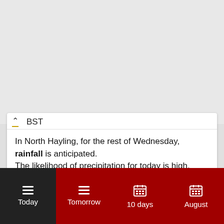BST
In North Hayling, for the rest of Wednesday, rainfall is anticipated.
The likelihood of precipitation for today is high.
However, the rainfall will be light.The lowest forecasted temperature is an enjoyable 17°C (62.6°F).
Sunrise was at 6:05 am and sunset will be at 8:07 pm; the daylight will last for 14h and 2min.
Today | Tomorrow | 10 days | August